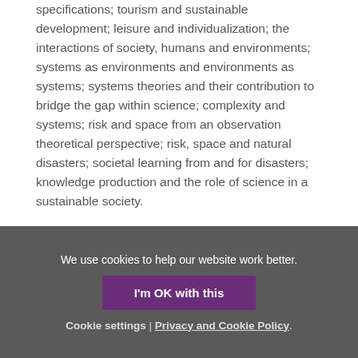specifications; tourism and sustainable development; leisure and individualization; the interactions of society, humans and environments; systems as environments and environments as systems; systems theories and their contribution to bridge the gap within science; complexity and systems; risk and space from an observation theoretical perspective; risk, space and natural disasters; societal learning from and for disasters; knowledge production and the role of science in a sustainable society.
Professor Egner has published widely on the interrelation of society, humans and environments.
We use cookies to help our website work better.
I'm OK with this
Cookie settings | Privacy and Cookie Policy.